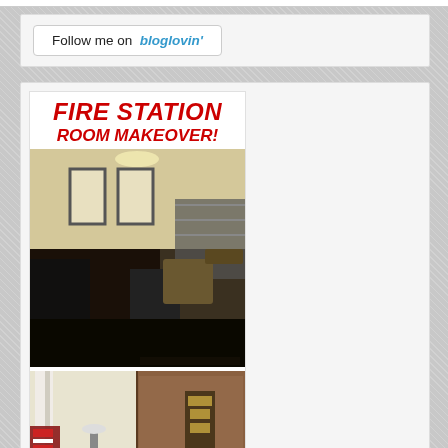[Figure (screenshot): Bloglovin follow button widget with text 'Follow me on bloglovin'' in a rounded rectangle button]
[Figure (photo): Fire Station Room Makeover blog post image showing bold red italic text 'FIRE STATION ROOM MAKEOVER!' above two interior room photos - a before photo showing a cluttered room and an after photo showing a renovated living space with leather chairs and American flag]